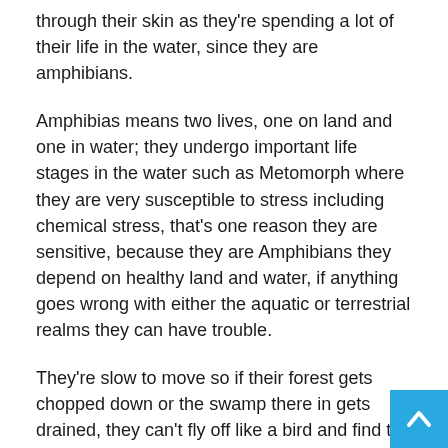through their skin as they're spending a lot of their life in the water, since they are amphibians.
Amphibias means two lives, one on land and one in water; they undergo important life stages in the water such as Metomorph where they are very susceptible to stress including chemical stress, that's one reason they are sensitive, because they are Amphibians they depend on healthy land and water, if anything goes wrong with either the aquatic or terrestrial realms they can have trouble.
They're slow to move so if their forest gets chopped down or the swamp there in gets drained, they can't fly off like a bird and find the next place. Frogs have to cross roads, go through inhospitable terrain, they get picked off by predators and a lot of them are just genetically predisposed to not want to travel far once their adults.